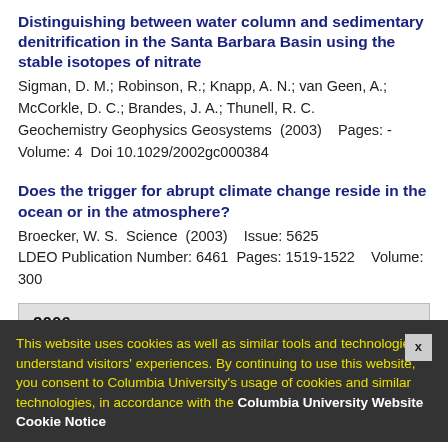Distinguishing between water column and sedimentary denitrification in the Santa Barbara Basin using the stable isotopes of nitrate
Sigman, D. M.; Robinson, R.; Knapp, A. N.; van Geen, A.; McCorkle, D. C.; Brandes, J. A.; Thunell, R. C.
Geochemistry Geophysics Geosystems  (2003)    Pages: -
Volume: 4  Doi 10.1029/2002gc000384
Does the trigger for abrupt climate change reside in the ocean or in the atmosphere?
Broecker, W. S.  Science  (2003)    Issue: 5625
LDEO Publication Number: 6461  Pages: 1519-1522    Volume: 300
2006
This website uses cookies as well as similar tools and technologies to understand visitors' experiences. By continuing to use this website, you consent to Columbia University's usage of cookies and similar technologies, in accordance with the Columbia University Website Cookie Notice